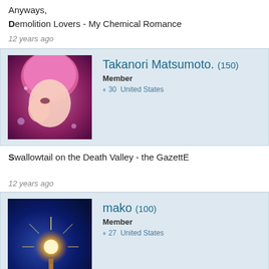Anyways,
Demolition Lovers - My Chemical Romance
12 years ago
Takanori Matsumoto. (150)
Member
30  United States
Swallowtail on the Death Valley - the GazettE
12 years ago
mako (100)
Member
27  United States
Yess, very different concept. 😊

Yeah Boy And Doll Face; Pierce The Veil
12 years ago